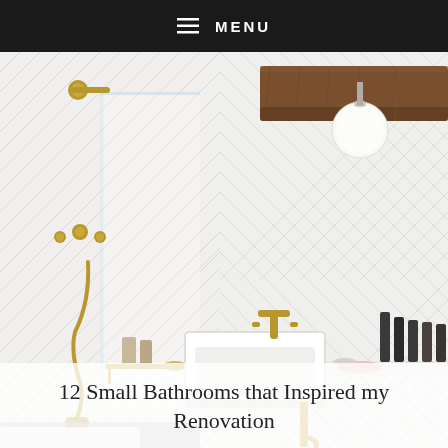≡ MENU
[Figure (photo): Interior photo of a modern small bathroom with white herringbone tiles on walls, glass shower enclosure, brass/gold fixtures including shower head, handheld shower, and sink faucet, a white pedestal/wall-mounted sink, a wooden beam ceiling accent, a round globe pendant light, and toiletry bottles on a shelf.]
12 Small Bathrooms that Inspired my Renovation